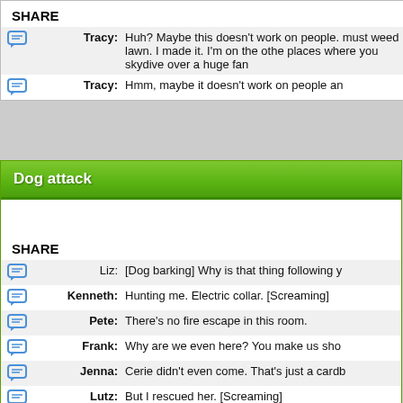SHARE
Tracy: Huh? Maybe this doesn't work on people. must weed lawn. I made it. I'm on the other places where you skydive over a huge fan
Tracy: Hmm, maybe it doesn't work on people an
Dog attack
SHARE
Liz: [Dog barking] Why is that thing following y
Kenneth: Hunting me. Electric collar. [Screaming]
Pete: There's no fire escape in this room.
Frank: Why are we even here? You make us sho
Jenna: Cerie didn't even come. That's just a cardb
Lutz: But I rescued her. [Screaming]
Pete: Everybody shut up! We need to figure out
Liz: [Growling] Oh, really? Now I'm a part of the someone to bail you out?
Toofer: Yes, that's exactly why we like you.
Frank: We love you. You solve our problems. Tha